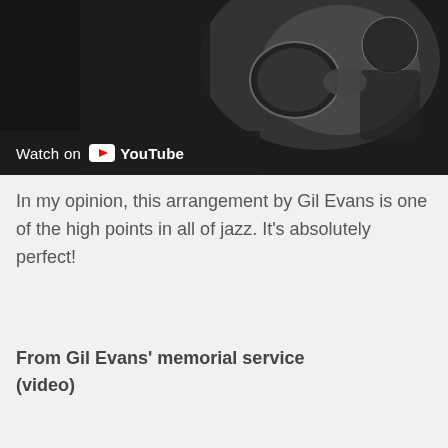[Figure (screenshot): YouTube video thumbnail showing a black and white image of a trumpet player, with a 'Watch on YouTube' bar at the bottom left]
In my opinion, this arrangement by Gil Evans is one of the high points in all of jazz. It's absolutely perfect!
From Gil Evans' memorial service (video)
[Figure (screenshot): YouTube video embed showing 'Gil Evans Memorial "Boplicity"' with a circular thumbnail on the left and dark background]